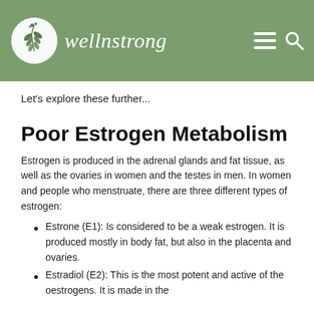wellnstrong
Let's explore these further...
Poor Estrogen Metabolism
Estrogen is produced in the adrenal glands and fat tissue, as well as the ovaries in women and the testes in men. In women and people who menstruate, there are three different types of estrogen:
Estrone (E1): Is considered to be a weak estrogen. It is produced mostly in body fat, but also in the placenta and ovaries.
Estradiol (E2): This is the most potent and active of the oestrogens. It is made in the